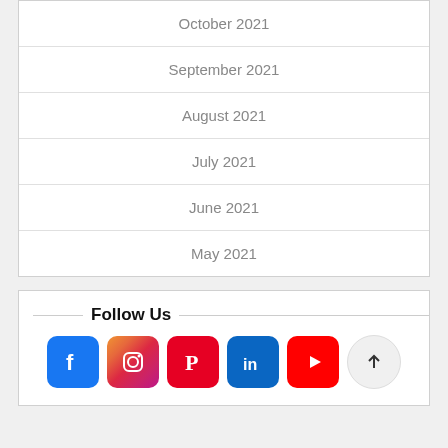October 2021
September 2021
August 2021
July 2021
June 2021
May 2021
Follow Us
[Figure (other): Social media icons: Facebook, Instagram, Pinterest, LinkedIn, YouTube, and a scroll-to-top arrow button]